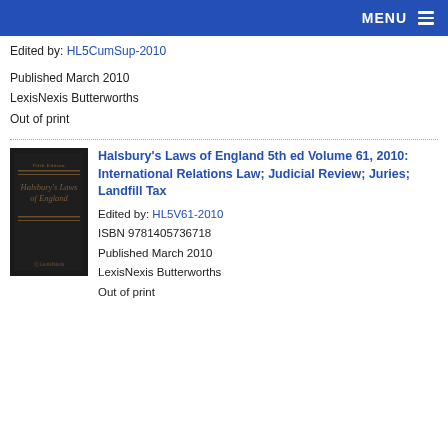MENU
Edited by: HL5CumSup-2010
Published March 2010
LexisNexis Butterworths
Out of print
[Figure (illustration): Book cover of Halsbury's Laws of England, 5th Edition, dark cover with gold text]
Halsbury's Laws of England 5th ed Volume 61, 2010: International Relations Law; Judicial Review; Juries; Landfill Tax
Edited by: HL5V61-2010
ISBN 9781405736718
Published March 2010
LexisNexis Butterworths
Out of print